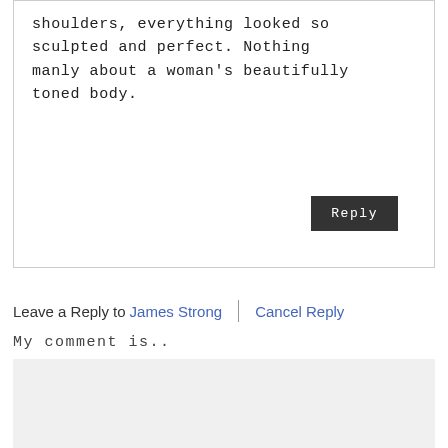shoulders, everything looked so sculpted and perfect. Nothing manly about a woman's beautifully toned body.
Reply
Leave a Reply to James Strong | Cancel Reply
My comment is..